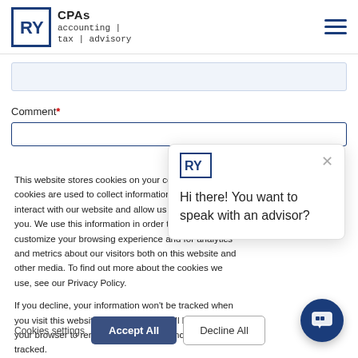CPAs accounting | tax | advisory
Comment*
This website stores cookies on your computer. These cookies are used to collect information about how you interact with our website and allow us to remember you. We use this information in order to improve and customize your browsing experience and for analytics and metrics about our visitors both on this website and other media. To find out more about the cookies we use, see our Privacy Policy.
If you decline, your information won't be tracked when you visit this website. A single cookie will be used in your browser to remember your preference not to be tracked.
Hi there! You want to speak with an advisor?
Cookies settings
Accept All
Decline All